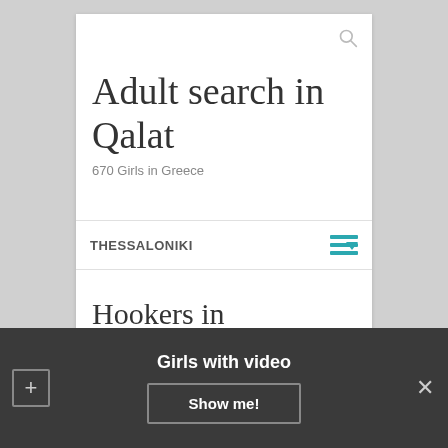Adult search in Qalat
670 Girls in Greece
THESSALONIKI
Hookers in Thessaloniki
Girls with video
Show me!